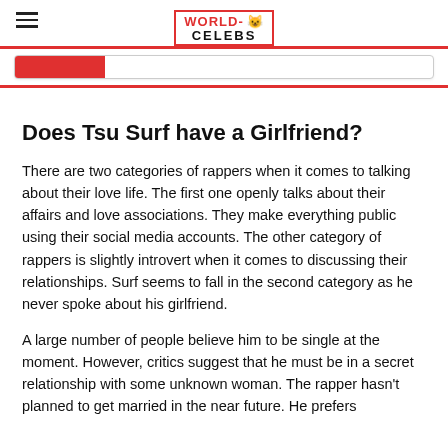WORLD-CELEBS
Does Tsu Surf have a Girlfriend?
There are two categories of rappers when it comes to talking about their love life. The first one openly talks about their affairs and love associations. They make everything public using their social media accounts. The other category of rappers is slightly introvert when it comes to discussing their relationships. Surf seems to fall in the second category as he never spoke about his girlfriend.
A large number of people believe him to be single at the moment. However, critics suggest that he must be in a secret relationship with some unknown woman. The rapper hasn't planned to get married in the near future. He prefers